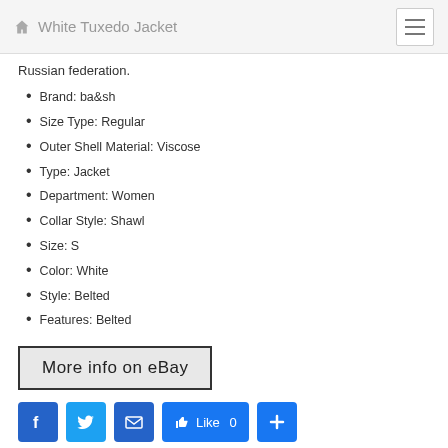White Tuxedo Jacket
Russian federation.
Brand: ba&sh
Size Type: Regular
Outer Shell Material: Viscose
Type: Jacket
Department: Women
Collar Style: Shawl
Size: S
Color: White
Style: Belted
Features: Belted
More info on eBay
[Figure (infographic): Social sharing buttons: Facebook, Twitter, Email, Like 0, Plus]
Category: bash